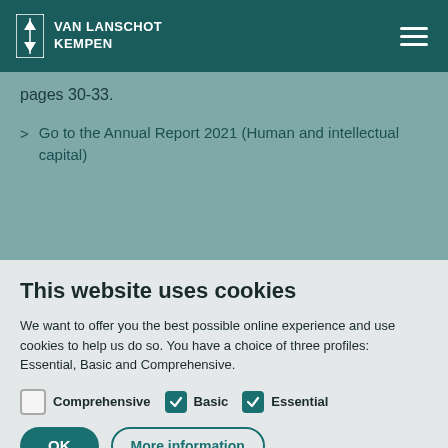VAN LANSCHOT KEMPEN
pages 30-33.
Go to the Annual Report 2021 (Human and intellectual capital)
This website uses cookies
We want to offer you the best possible online experience and use cookies to help us do so. You have a choice of three profiles: Essential, Basic and Comprehensive.
Comprehensive  Basic  Essential
OK  More information